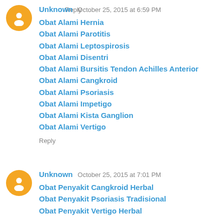Reply
Unknown  October 25, 2015 at 6:59 PM
Obat Alami Hernia
Obat Alami Parotitis
Obat Alami Leptospirosis
Obat Alami Disentri
Obat Alami Bursitis Tendon Achilles Anterior
Obat Alami Cangkroid
Obat Alami Psoriasis
Obat Alami Impetigo
Obat Alami Kista Ganglion
Obat Alami Vertigo
Reply
Unknown  October 25, 2015 at 7:01 PM
Obat Penyakit Cangkroid Herbal
Obat Penyakit Psoriasis Tradisional
Obat Penyakit Vertigo Herbal